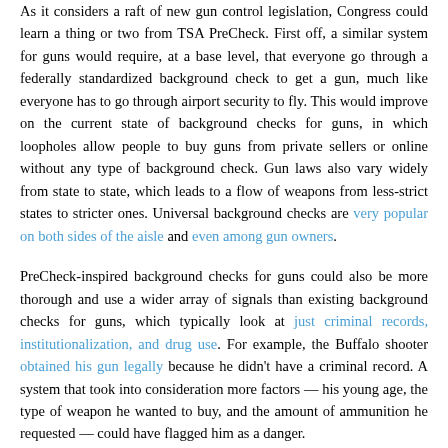As it considers a raft of new gun control legislation, Congress could learn a thing or two from TSA PreCheck. First off, a similar system for guns would require, at a base level, that everyone go through a federally standardized background check to get a gun, much like everyone has to go through airport security to fly. This would improve on the current state of background checks for guns, in which loopholes allow people to buy guns from private sellers or online without any type of background check. Gun laws also vary widely from state to state, which leads to a flow of weapons from less-strict states to stricter ones. Universal background checks are very popular on both sides of the aisle and even among gun owners.
PreCheck-inspired background checks for guns could also be more thorough and use a wider array of signals than existing background checks for guns, which typically look at just criminal records, institutionalization, and drug use. For example, the Buffalo shooter obtained his gun legally because he didn't have a criminal record. A system that took into consideration more factors — his young age, the type of weapon he wanted to buy, and the amount of ammunition he requested — could have flagged him as a danger.